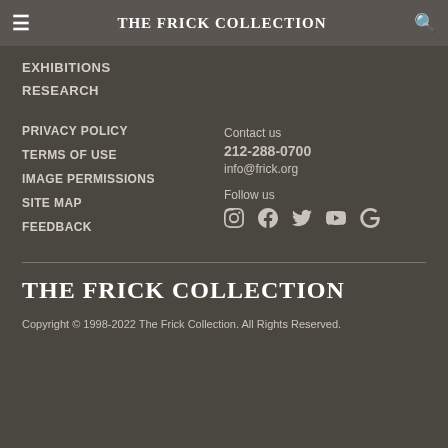THE FRICK COLLECTION
EXHIBITIONS
RESEARCH
PRIVACY POLICY
TERMS OF USE
IMAGE PERMISSIONS
SITE MAP
FEEDBACK
Contact us
212-288-0700
info@frick.org
Follow us
[Figure (other): Social media icons: Instagram, Facebook, Twitter, YouTube, Google]
THE FRICK COLLECTION
Copyright © 1998-2022 The Frick Collection. All Rights Reserved.